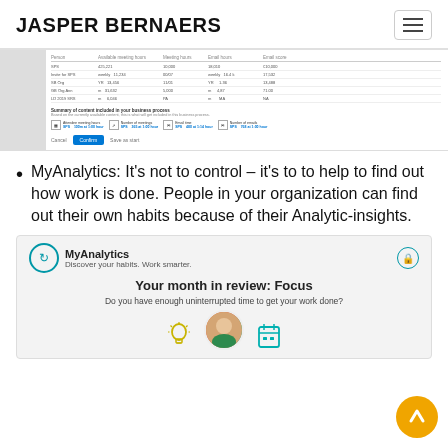JASPER BERNAERS
[Figure (screenshot): Screenshot of a web application showing a table with scheduling/meeting data rows and columns including Person, Available meeting hours, Meeting hours, Email hours, Email score, and a summary section below with metrics and Confirm/Cancel buttons.]
MyAnalytics: It’s not to control – it’s to to help to find out how work is done. People in your organization can find out their own habits because of their Analytic-insights.
[Figure (screenshot): MyAnalytics card showing 'Discover your habits. Work smarter.' with a lock icon, 'Your month in review: Focus' heading, 'Do you have enough uninterrupted time to get your work done?' question, and icons of a lightbulb, person, and calendar at the bottom.]